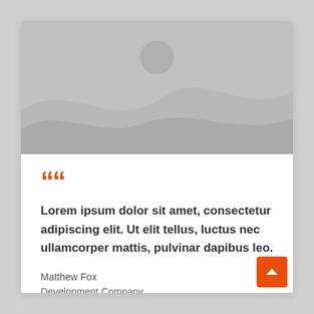[Figure (illustration): Gray placeholder image with mountain silhouette shapes and a circle representing sun/moon]
““
Lorem ipsum dolor sit amet, consectetur adipiscing elit. Ut elit tellus, luctus nec ullamcorper mattis, pulvinar dapibus leo.
Matthew Fox
Development Company